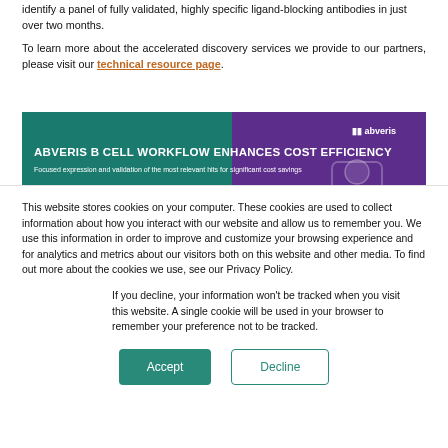identify a panel of fully validated, highly specific ligand-blocking antibodies in just over two months.
To learn more about the accelerated discovery services we provide to our partners, please visit our technical resource page.
[Figure (infographic): Abveris B Cell Workflow banner with teal and purple background. Text reads: ABVERIS B CELL WORKFLOW ENHANCES COST EFFICIENCY. Focused expression and validation of the most relevant hits for significant cost savings. Abveris logo in top right corner.]
This website stores cookies on your computer. These cookies are used to collect information about how you interact with our website and allow us to remember you. We use this information in order to improve and customize your browsing experience and for analytics and metrics about our visitors both on this website and other media. To find out more about the cookies we use, see our Privacy Policy.
If you decline, your information won't be tracked when you visit this website. A single cookie will be used in your browser to remember your preference not to be tracked.